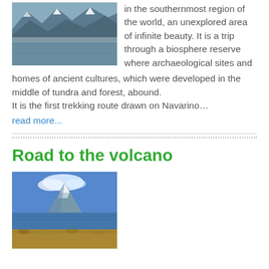[Figure (photo): Snow-capped mountains reflected in a still lake or body of water, wintry landscape]
in the southernmost region of the world, an unexplored area of infinite beauty. It is a trip through a biosphere reserve where archaeological sites and homes of ancient cultures, which were developed in the middle of tundra and forest, abound.
It is the first trekking route drawn on Navarino…
read more...
Road to the volcano
[Figure (photo): A snow-capped volcano beside a lake with desert scrubland in the foreground under a blue sky with clouds]